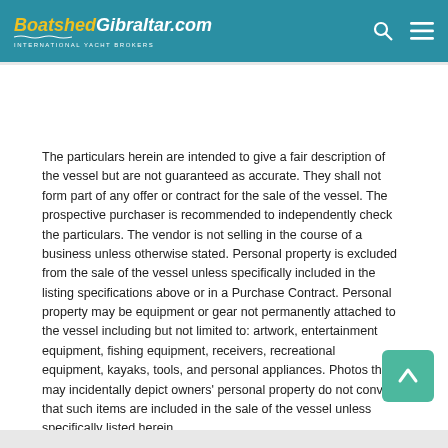BoatshedGibraltar.com — INTERNATIONAL YACHT BROKERS
The particulars herein are intended to give a fair description of the vessel but are not guaranteed as accurate. They shall not form part of any offer or contract for the sale of the vessel. The prospective purchaser is recommended to independently check the particulars. The vendor is not selling in the course of a business unless otherwise stated. Personal property is excluded from the sale of the vessel unless specifically included in the listing specifications above or in a Purchase Contract. Personal property may be equipment or gear not permanently attached to the vessel including but not limited to: artwork, entertainment equipment, fishing equipment, receivers, recreational equipment, kayaks, tools, and personal appliances. Photos that may incidentally depict owners' personal property do not convey that such items are included in the sale of the vessel unless specifically listed herein.